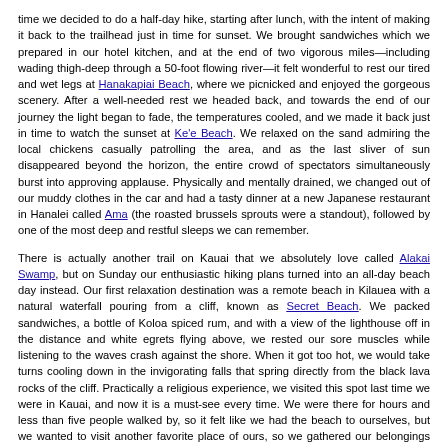time we decided to do a half-day hike, starting after lunch, with the intent of making it back to the trailhead just in time for sunset. We brought sandwiches which we prepared in our hotel kitchen, and at the end of two vigorous miles—including wading thigh-deep through a 50-foot flowing river—it felt wonderful to rest our tired and wet legs at Hanakapiai Beach, where we picnicked and enjoyed the gorgeous scenery. After a well-needed rest we headed back, and towards the end of our journey the light began to fade, the temperatures cooled, and we made it back just in time to watch the sunset at Ke'e Beach. We relaxed on the sand admiring the local chickens casually patrolling the area, and as the last sliver of sun disappeared beyond the horizon, the entire crowd of spectators simultaneously burst into approving applause. Physically and mentally drained, we changed out of our muddy clothes in the car and had a tasty dinner at a new Japanese restaurant in Hanalei called Ama (the roasted brussels sprouts were a standout), followed by one of the most deep and restful sleeps we can remember.

There is actually another trail on Kauai that we absolutely love called Alakai Swamp, but on Sunday our enthusiastic hiking plans turned into an all-day beach day instead. Our first relaxation destination was a remote beach in Kilauea with a natural waterfall pouring from a cliff, known as Secret Beach. We packed sandwiches, a bottle of Koloa spiced rum, and with a view of the lighthouse off in the distance and white egrets flying above, we rested our sore muscles while listening to the waves crash against the shore. When it got too hot, we would take turns cooling down in the invigorating falls that spring directly from the black lava rocks of the cliff. Practically a religious experience, we visited this spot last time we were in Kauai, and now it is a must-see every time. We were there for hours and less than five people walked by, so it felt like we had the beach to ourselves, but we wanted to visit another favorite place of ours, so we gathered our belongings and drove twenty minutes east of Princeville to Larsen's Beach, another secluded location that is just as quiet, peaceful, and revitalizing for the soul. We stayed through sunset, then headed back to our hotel where we capped off the night baking homemade pizzas on English muffins! It can really put a dent